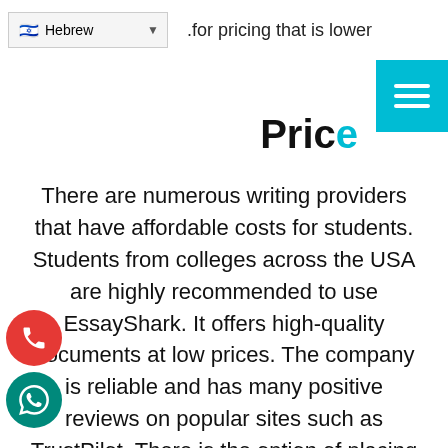.for pricing that is lower
[Figure (screenshot): Hebrew language selector dropdown with Israeli flag]
[Figure (other): Teal hamburger menu button in top right corner]
Pric
There are numerous writing providers that have affordable costs for students. Students from colleges across the USA are highly recommended to use EssayShark. It offers high-quality documents at low prices. The company is reliable and has many positive reviews on popular sites such as TrustPilot. There is the option of placing last-minute orders and they're adept at creating top-quality documents in only three hours. They do not require customers to purchase their paper beforehand
[Figure (other): Red circular phone/call button on left side]
[Figure (other): Teal circular WhatsApp button on left side]